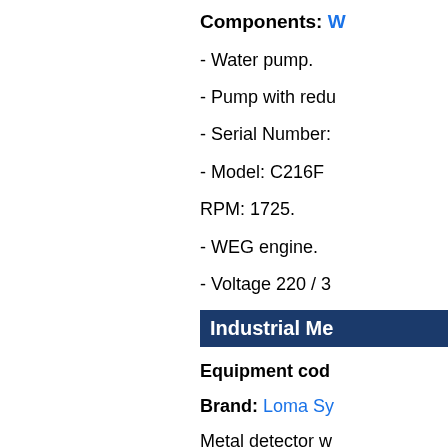Components: W...
- Water pump.
- Pump with redu...
- Serial Number:...
- Model: C216F
RPM: 1725.
- WEG engine.
- Voltage 220 / 3...
Industrial Me...
Equipment cod...
Brand: Loma Sy...
Metal detector w...